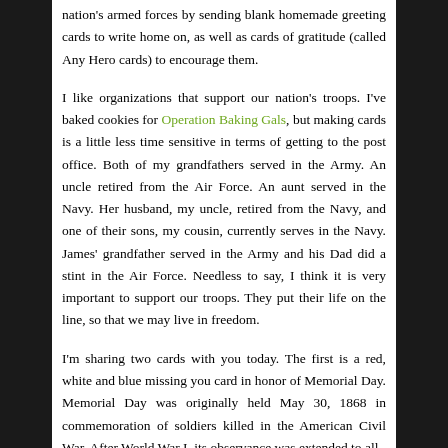nation's armed forces by sending blank homemade greeting cards to write home on, as well as cards of gratitude (called Any Hero cards) to encourage them.
I like organizations that support our nation's troops. I've baked cookies for Operation Baking Gals, but making cards is a little less time sensitive in terms of getting to the post office. Both of my grandfathers served in the Army. An uncle retired from the Air Force. An aunt served in the Navy. Her husband, my uncle, retired from the Navy, and one of their sons, my cousin, currently serves in the Navy. James' grandfather served in the Army and his Dad did a stint in the Air Force. Needless to say, I think it is very important to support our troops. They put their life on the line, so that we may live in freedom.
I'm sharing two cards with you today. The first is a red, white and blue missing you card in honor of Memorial Day. Memorial Day was originally held May 30, 1868 in commemoration of soldiers killed in the American Civil War. After World War I, its observance was extended to all